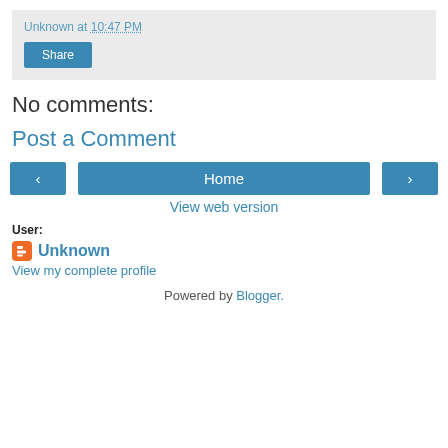Unknown at 10:47 PM
Share
No comments:
Post a Comment
‹  Home  ›
View web version
User:
Unknown
View my complete profile
Powered by Blogger.